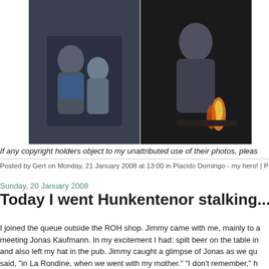[Figure (photo): Left photo: two figures in dramatic scene, dark tones]
[Figure (photo): Right photo: man standing near fire/flame, dark scene]
If any copyright holders object to my unattributed use of their photos, pleas
Posted by Gert on Monday, 21 January 2008 at 13:00 in Placido Domingo - my hero! | P
Sunday, 20 January 2008
Today I went Hunkentenor stalking...
I joined the queue outside the ROH shop. Jimmy came with me, mainly to a meeting Jonas Kaufmann. In my excitement I had: spilt beer on the table in and also left my hat in the pub. Jimmy caught a glimpse of Jonas as we qu said, "in La Rondine, when we went with my mother." "I don't remember," h computer, me gazing at him..." "I'll sort him out," said Jimmy.
[Figure (photo): People at a shop or book signing event, smiling]
Jonas about to sign my Traviata programme and me
[Figure (photo): Group photo at signing event]
It looks like I'm telling him off. T he is singing Don Carlo next se had explained emphatically tha he's in talks for 2011, but, at m